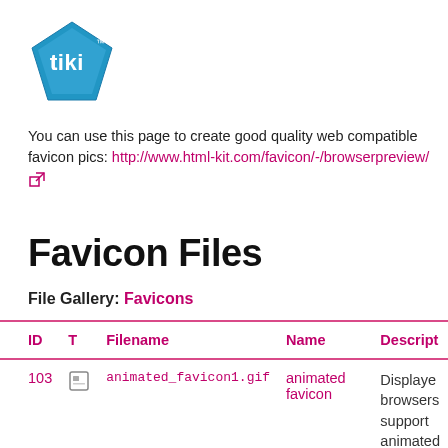[Figure (logo): Tiki logo — blue diamond shape with 'tiki' text and trademark symbol]
You can use this page to create good quality web compatible favicon pics: http://www.html-kit.com/favicon/-/browserpreview/
Favicon Files
File Gallery: Favicons
| ID | T | Filename | Name | Descript |
| --- | --- | --- | --- | --- |
| 103 | [icon] | animated_favicon1.gif | animated favicon | Displayed browsers support animated favicons |